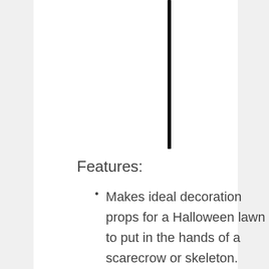[Figure (illustration): A thin vertical black stick or rod, centered horizontally in the upper portion of the page, against a white background.]
Features:
Makes ideal decoration props for a Halloween lawn to put in the hands of a scarecrow or skeleton.